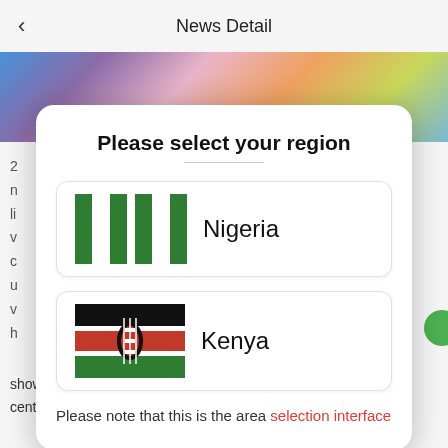News Detail
[Figure (screenshot): Mobile app screenshot showing a 'News Detail' page with a region selection modal dialog overlay. The modal has a title 'Please select your region' and two country options: Nigeria (with Nigerian flag) and Kenya (with Kenyan flag). Below the options a note reads: 'Please note that this is the area selection interface' with 'selection interface' in red.]
Please note that this is the area selection interface
show you in your 'marketer center' in your 'user center'. Each registration is two points. If